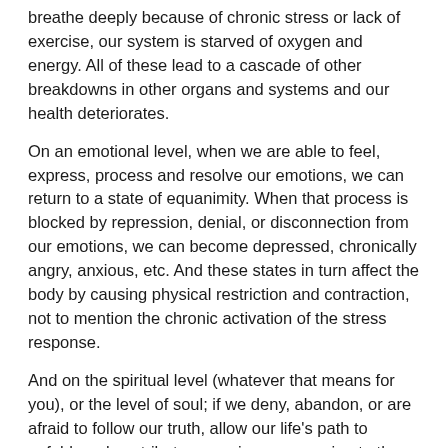breathe deeply because of chronic stress or lack of exercise, our system is starved of oxygen and energy. All of these lead to a cascade of other breakdowns in other organs and systems and our health deteriorates.
On an emotional level, when we are able to feel, express, process and resolve our emotions, we can return to a state of equanimity. When that process is blocked by repression, denial, or disconnection from our emotions, we can become depressed, chronically angry, anxious, etc. And these states in turn affect the body by causing physical restriction and contraction, not to mention the chronic activation of the stress response.
And on the spiritual level (whatever that means for you), or the level of soul; if we deny, abandon, or are afraid to follow our truth, allow our life's path to unfold, and contribute our unique expression to the world, we can end up in despair and resignation. We must have a sense of meaning in life to thrive.
From this perspective, just trying to fix the effect of the block, or lack of movement, without being aware of what's causing it, doesn't bring us health. We have to address the block. It may be an unconscious defense pattern learned early in life, it may be a belief about ourselves or life that keeps us from participating fully